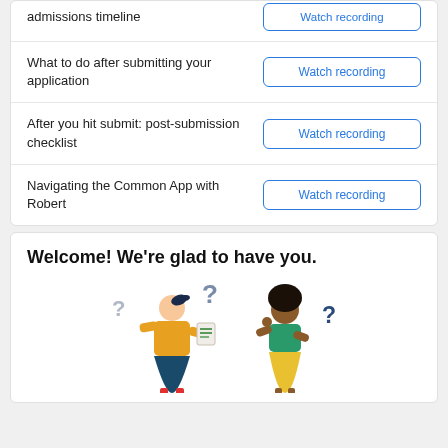admissions timeline
What to do after submitting your application
After you hit submit: post-submission checklist
Navigating the Common App with Robert
Welcome! We're glad to have you.
[Figure (illustration): Two illustrated figures with question marks floating around them. One figure on the left wearing yellow jacket and blue skirt holds a document, the other on the right wears a green top and yellow skirt.]